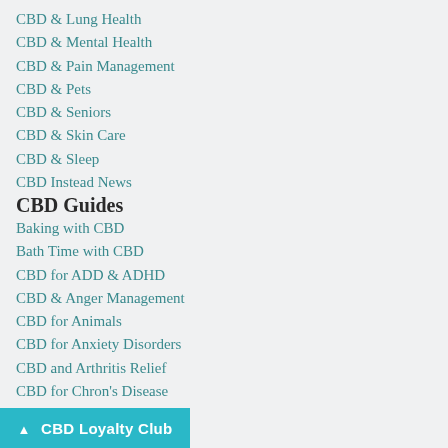CBD & Lung Health
CBD & Mental Health
CBD & Pain Management
CBD & Pets
CBD & Seniors
CBD & Skin Care
CBD & Sleep
CBD Instead News
CBD Guides
Baking with CBD
Bath Time with CBD
CBD for ADD & ADHD
CBD & Anger Management
CBD for Animals
CBD for Anxiety Disorders
CBD and Arthritis Relief
CBD for Chron's Disease
CBD Loyalty Club